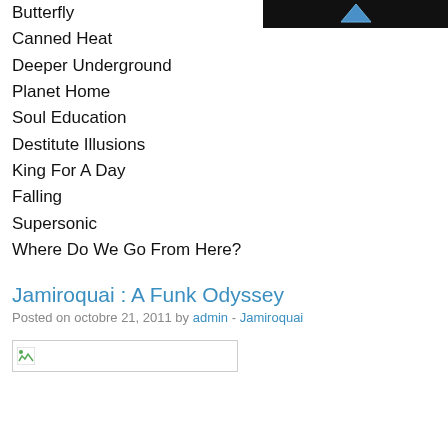[Figure (photo): Album cover image partially visible, dark/black background with a triangular shape in blue]
Butterfly
Canned Heat
Deeper Underground
Planet Home
Soul Education
Destitute Illusions
King For A Day
Falling
Supersonic
Where Do We Go From Here?
Jamiroquai : A Funk Odyssey
Posted on octobre 21, 2011 by admin - Jamiroquai
[Figure (photo): Small broken/placeholder image]